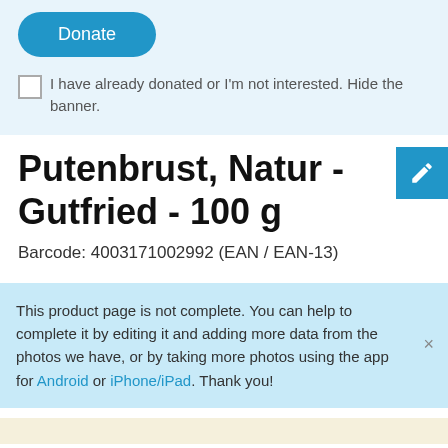[Figure (other): Donate button (rounded blue button with white text 'Donate')]
I have already donated or I'm not interested. Hide the banner.
Putenbrust, Natur - Gutfried - 100 g
Barcode: 4003171002992 (EAN / EAN-13)
This product page is not complete. You can help to complete it by editing it and adding more data from the photos we have, or by taking more photos using the app for Android or iPhone/iPad. Thank you!